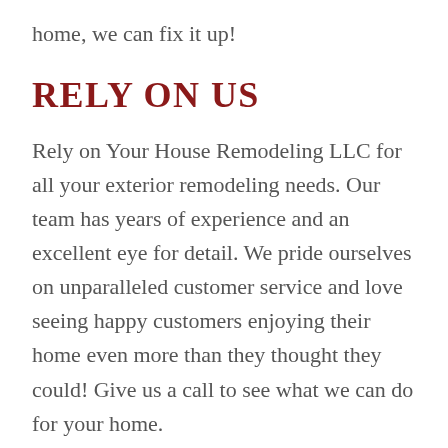home, we can fix it up!
RELY ON US
Rely on Your House Remodeling LLC for all your exterior remodeling needs. Our team has years of experience and an excellent eye for detail. We pride ourselves on unparalleled customer service and love seeing happy customers enjoying their home even more than they thought they could! Give us a call to see what we can do for your home.